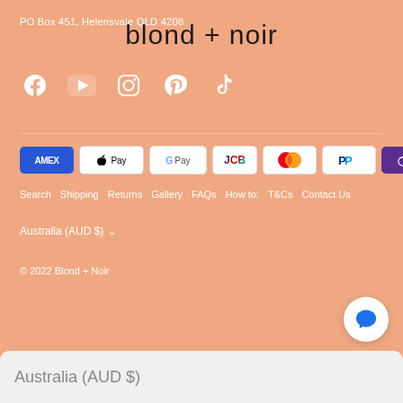PO Box 451, Helensvale QLD 4208
blond + noir
[Figure (illustration): Social media icons: Facebook, YouTube, Instagram, Pinterest, TikTok (white on peach background)]
[Figure (illustration): Payment method badges: AMEX, Apple Pay, G Pay, JCB, Mastercard, PayPal, OPay, VISA]
Search  Shipping  Returns  Gallery  FAQs  How to:  T&Cs  Contact Us
Australia (AUD $) ∨
© 2022 Blond + Noir
Australia (AUD $)
[Figure (illustration): Chat bubble button (blue) on white circular background]